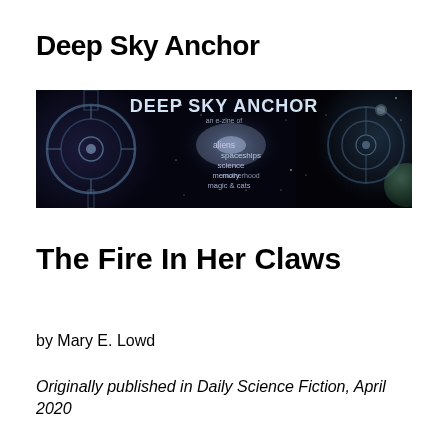Deep Sky Anchor
[Figure (illustration): Banner image for Deep Sky Anchor e-zine, showing space imagery with a galaxy, spaceships, and the text 'DEEP SKY ANCHOR an e-zine of spaceships aliens science memory motherhood magic & cats']
The Fire In Her Claws
by Mary E. Lowd
Originally published in Daily Science Fiction, April 2020